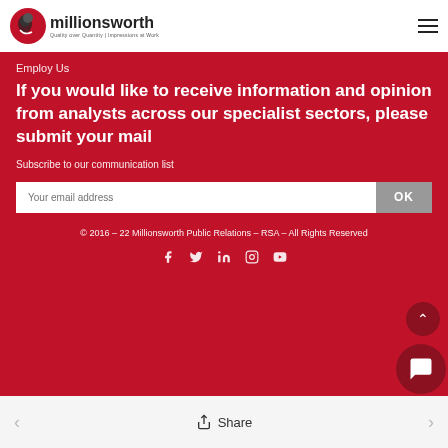millionsworth – Quality over Quantity | Impressions at Work
Employ Us
If you would like to receive information and opinion from analysts across our specialist sectors, please submit your mail
Subscribe to our communication list
Your email address [OK button]
© 2016 – 22 Millionsworth Public Relations – RSA – All Rights Reserved
Social icons: Facebook, Twitter, LinkedIn, Instagram, YouTube
Share